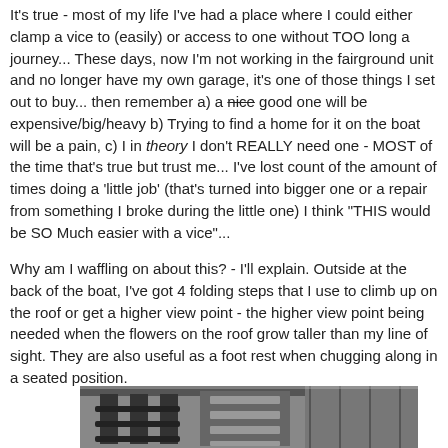It's true - most of my life I've had a place where I could either clamp a vice to (easily) or access to one without TOO long a journey... These days, now I'm not working in the fairground unit and no longer have my own garage, it's one of those things I set out to buy... then remember a) a nice good one will be expensive/big/heavy b) Trying to find a home for it on the boat will be a pain, c) I in theory I don't REALLY need one - MOST of the time that's true but trust me... I've lost count of the amount of times doing a 'little job' (that's turned into bigger one or a repair from something I broke during the little one) I think "THIS would be SO Much easier with a vice"...
Why am I waffling on about this? - I'll explain.   Outside at the back of the boat, I've got 4 folding steps that I use to climb up on the roof or get a higher view point - the higher view point being needed when the flowers on the roof grow taller than my line of sight.   They are also useful as a foot rest when chugging along in a seated position.
[Figure (photo): Partial view of a photo showing what appears to be metal steps or fittings on a boat, black and white/grayscale]